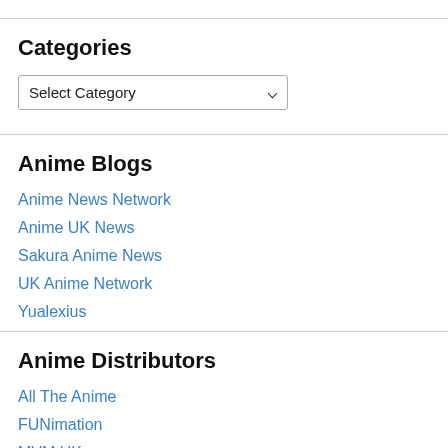Categories
Select Category (dropdown)
Anime Blogs
Anime News Network
Anime UK News
Sakura Anime News
UK Anime Network
Yualexius
Anime Distributors
All The Anime
FUNimation
MVM UK